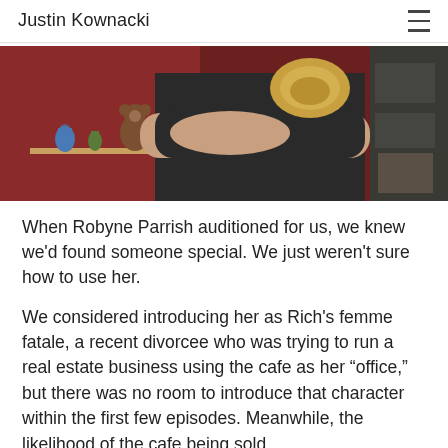Justin Kownacki
[Figure (photo): A person with arms crossed wearing a black t-shirt, partially visible, holding a decorative object. Background features a red wall with shelves holding small figurines including a teddy bear and small pottery items.]
When Robyne Parrish auditioned for us, we knew we'd found someone special. We just weren't sure how to use her.
We considered introducing her as Rich's femme fatale, a recent divorcee who was trying to run a real estate business using the cafe as her “office,” but there was no room to introduce that character within the first few episodes. Meanwhile, the likelihood of the cafe being sold